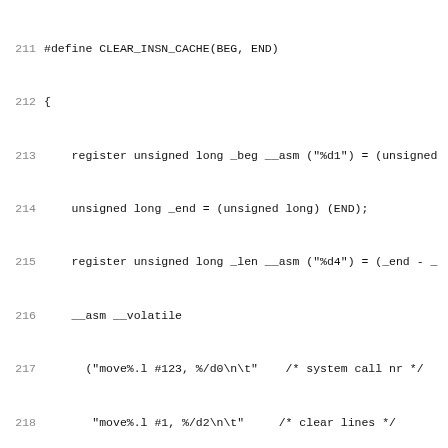[Figure (screenshot): Source code screenshot showing C preprocessor macro definitions with line numbers 211-228. Code includes CLEAR_INSN_CACHE macro with inline assembly, TARGET_ASM_FILE_END define, and MD_UNWIND_SUPPORT define.]
About OSDN
Site Announce
About OSDN
Privacy
Terms of Use
Advertise

Find Software
Search
Find by Categories
Download Ranking
Project Ranking

Devel
Create
What's
Recer
Cham
API

Copyright ©OS
Copyright ©OS